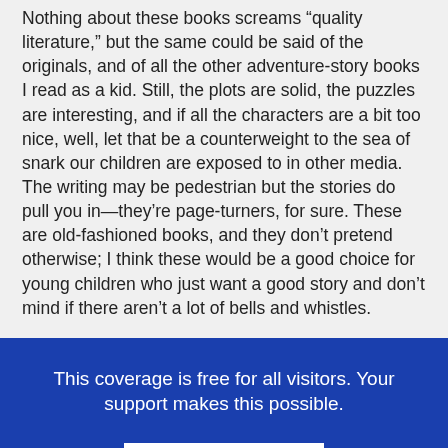Nothing about these books screams “quality literature,” but the same could be said of the originals, and of all the other adventure-story books I read as a kid. Still, the plots are solid, the puzzles are interesting, and if all the characters are a bit too nice, well, let that be a counterweight to the sea of snark our children are exposed to in other media. The writing may be pedestrian but the stories do pull you in—they’re page-turners, for sure. These are old-fashioned books, and they don’t pretend otherwise; I think these would be a good choice for young children who just want a good story and don’t mind if there aren’t a lot of bells and whistles.
This coverage is free for all visitors. Your support makes this possible.
SUBSCRIBE